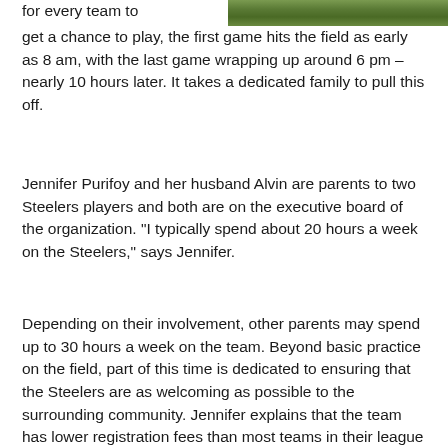[Figure (photo): Green grass field, partial view at top right of page]
for every team to get a chance to play, the first game hits the field as early as 8 am, with the last game wrapping up around 6 pm – nearly 10 hours later. It takes a dedicated family to pull this off.
Jennifer Purifoy and her husband Alvin are parents to two Steelers players and both are on the executive board of the organization. "I typically spend about 20 hours a week on the Steelers," says Jennifer.
Depending on their involvement, other parents may spend up to 30 hours a week on the team. Beyond basic practice on the field, part of this time is dedicated to ensuring that the Steelers are as welcoming as possible to the surrounding community. Jennifer explains that the team has lower registration fees than most teams in their league in order to accommodate lower income families. The goal is to provide an accessible, safe space